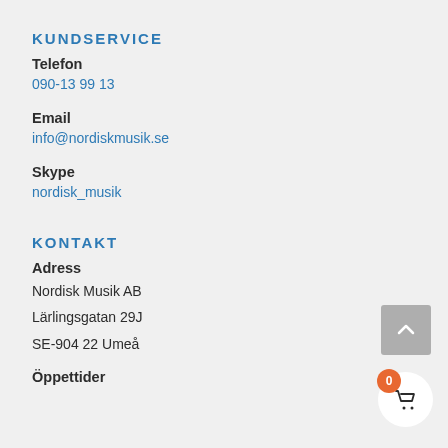KUNDSERVICE
Telefon
090-13 99 13
Email
info@nordiskmusik.se
Skype
nordisk_musik
KONTAKT
Adress
Nordisk Musik AB
Lärlingsgatan 29J
SE-904 22 Umeå
Öppettider